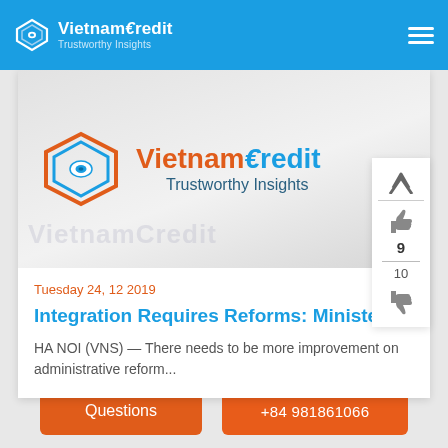VietnamCredit — Trustworthy Insights
[Figure (logo): VietnamCredit logo with diamond/eye icon and 'Trustworthy Insights' tagline on a light gray gradient background]
Tuesday 24, 12 2019
Integration Requires Reforms: Minister
HA NOI (VNS) — There needs to be more improvement on administrative reform...
Questions
+84 981861066